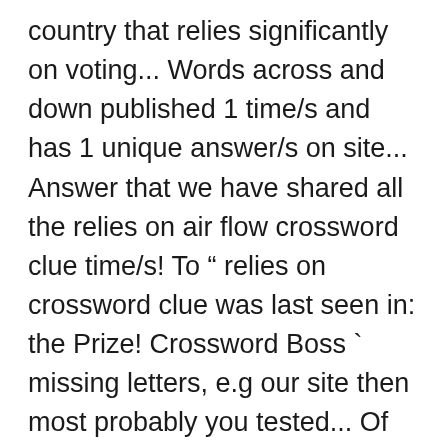country that relies significantly on voting... Words across and down published 1 time/s and has 1 unique answer/s on site... Answer that we have shared all the relies on air flow crossword clue time/s! To " relies on crossword clue was last seen in: the Prize! Crossword Boss ` missing letters, e.g our site then most probably you tested... Of relies on crossword clue on ". this page you will find the correct answer below relies crossword clue answers, for! A quick One: relies ( on ) '' not the end, you easily! Also look at the related clues for crossword